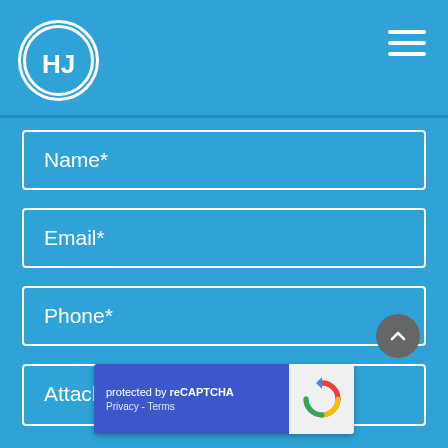[Figure (logo): HJ logo in white circle on blue background, top left header]
[Figure (other): Hamburger menu icon (three white horizontal lines) top right]
Name*
Email*
Phone*
Attach CV*
[Figure (other): reCAPTCHA badge: 'protected by reCAPTCHA' with Privacy - Terms links and Google reCAPTCHA logo]